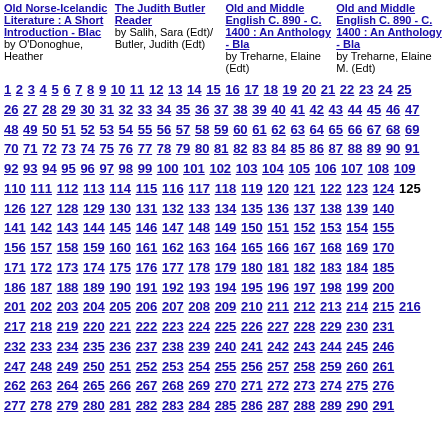Old Norse-Icelandic Literature : A Short Introduction - Blac by O'Donoghue, Heather
The Judith Butler Reader by Salih, Sara (Edt)/ Butler, Judith (Edt)
Old and Middle English C. 890 - C. 1400 : An Anthology - Bla by Treharne, Elaine (Edt)
Old and Middle English C. 890 - C. 1400 : An Anthology - Bla by Treharne, Elaine M. (Edt)
1 2 3 4 5 6 7 8 9 10 11 12 13 14 15 16 17 18 19 20 21 22 23 24 25 26 27 28 29 30 31 32 33 34 35 36 37 38 39 40 41 42 43 44 45 46 47 48 49 50 51 52 53 54 55 56 57 58 59 60 61 62 63 64 65 66 67 68 69 70 71 72 73 74 75 76 77 78 79 80 81 82 83 84 85 86 87 88 89 90 91 92 93 94 95 96 97 98 99 100 101 102 103 104 105 106 107 108 109 110 111 112 113 114 115 116 117 118 119 120 121 122 123 124 125 126 127 128 129 130 131 132 133 134 135 136 137 138 139 140 141 142 143 144 145 146 147 148 149 150 151 152 153 154 155 156 157 158 159 160 161 162 163 164 165 166 167 168 169 170 171 172 173 174 175 176 177 178 179 180 181 182 183 184 185 186 187 188 189 190 191 192 193 194 195 196 197 198 199 200 201 202 203 204 205 206 207 208 209 210 211 212 213 214 215 216 217 218 219 220 221 222 223 224 225 226 227 228 229 230 231 232 233 234 235 236 237 238 239 240 241 242 243 244 245 246 247 248 249 250 251 252 253 254 255 256 257 258 259 260 261 262 263 264 265 266 267 268 269 270 271 272 273 274 275 276 277 278 279 280 281 282 283 284 285 286 287 288 289 290 291